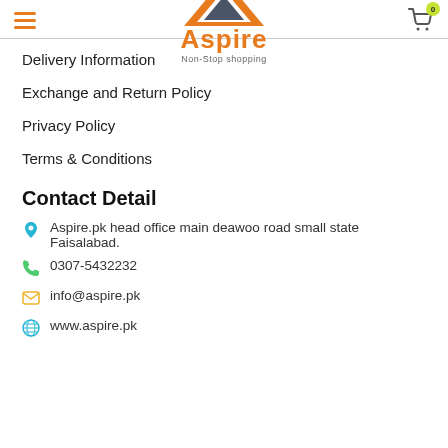[Figure (logo): Aspire Non-Stop shopping logo with orange triangle icon and orange brand name]
Delivery Information
Exchange and Return Policy
Privacy Policy
Terms & Conditions
Contact Detail
Aspire.pk head office main deawoo road small state Faisalabad.
0307-5432232
info@aspire.pk
www.aspire.pk